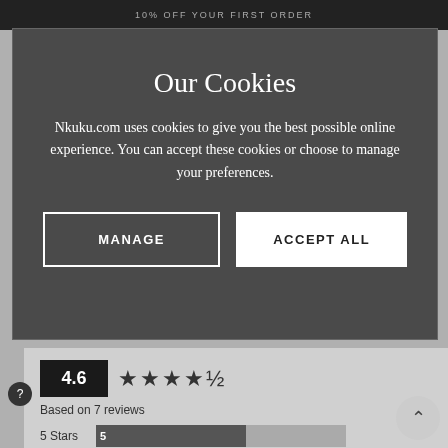10% OFF YOUR FIRST ORDER
Our Cookies
Nkuku.com uses cookies to give you the best possible online experience. You can accept these cookies or choose to manage your preferences.
MANAGE
ACCEPT ALL
4.6 ★★★★½
Based on 7 reviews
5 Stars  5
4 Stars  1